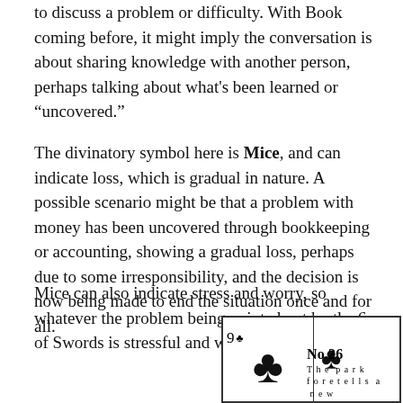to discuss a problem or difficulty. With Book coming before, it might imply the conversation is about sharing knowledge with another person, perhaps talking about what's been learned or “uncovered.”
The divinatory symbol here is Mice, and can indicate loss, which is gradual in nature. A possible scenario might be that a problem with money has been uncovered through bookkeeping or accounting, showing a gradual loss, perhaps due to some irresponsibility, and the decision is now being made to end the situation once and for all.
Mice can also indicate stress and worry, so whatever the problem being pointed out by the 6 of Swords is stressful and worrisome.
[Figure (illustration): Playing card illustration showing the 9 of Clubs with two club symbols. On the right side text reads 'No.26' with 'The park' and 'foretells a new' in spaced lettering.]